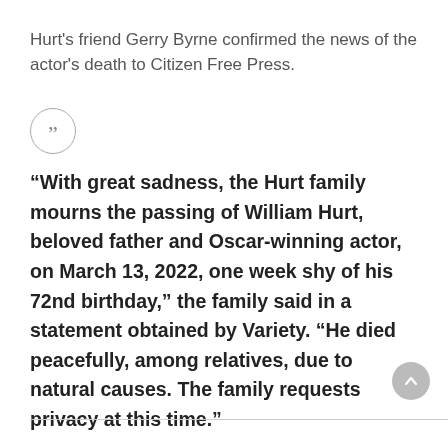Hurt's friend Gerry Byrne confirmed the news of the actor's death to Citizen Free Press.
[Figure (illustration): A circular icon with closing double quotation marks inside]
“With great sadness, the Hurt family mourns the passing of William Hurt, beloved father and Oscar-winning actor, on March 13, 2022, one week shy of his 72nd birthday,” the family said in a statement obtained by Variety. “He died peacefully, among relatives, due to natural causes. The family requests privacy at this time.”